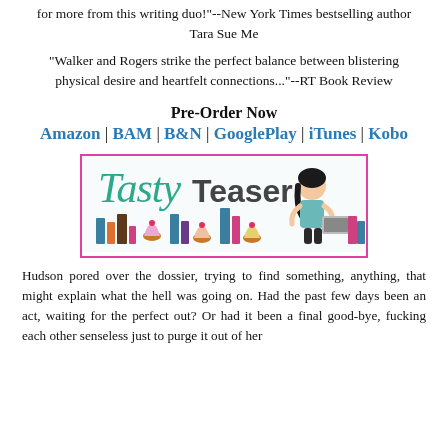for more from this writing duo!"--New York Times bestselling author Tara Sue Me
"Walker and Rogers strike the perfect balance between blistering physical desire and heartfelt connections..."--RT Book Review
Pre-Order Now
Amazon | BAM | B&N | GooglePlay | iTunes | Kobo
[Figure (logo): Tasty Teaser logo banner with illustrated woman, books, and cupcakes]
Hudson pored over the dossier, trying to find something, anything, that might explain what the hell was going on. Had the past few days been an act, waiting for the perfect out? Or had it been a final good-bye, fucking each other senseless just to purge it out of her